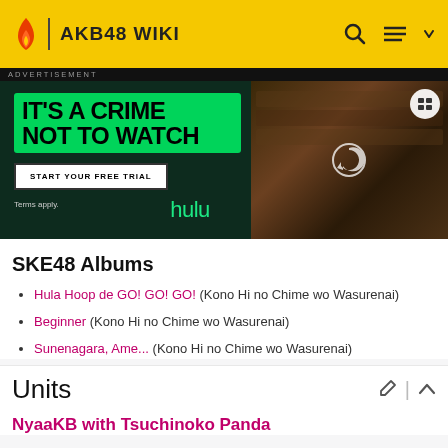AKB48 WIKI
[Figure (screenshot): Hulu advertisement banner: 'IT'S A CRIME NOT TO WATCH' with green background text box, START YOUR FREE TRIAL button, hulu logo in green, and a photo of a person in a library setting. Dark green background.]
SKE48 Albums
Hula Hoop de GO! GO! GO! (Kono Hi no Chime wo Wasurenai)
Beginner (Kono Hi no Chime wo Wasurenai)
Sunenagara, Ame... (Kono Hi no Chime wo Wasurenai)
Units
NyaaKB with Tsuchinoko Panda